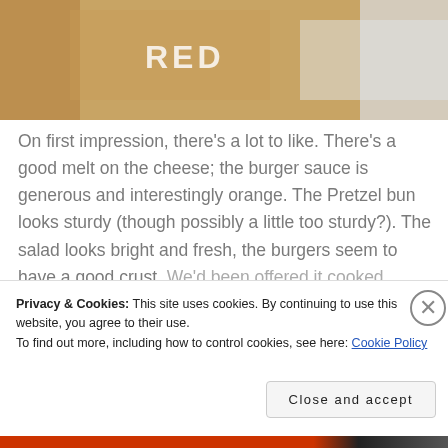[Figure (photo): Close-up photo of a burger with text partially visible reading 'RED' on packaging, soft fabric visible at edge]
On first impression, there's a lot to like. There's a good melt on the cheese; the burger sauce is generous and interestingly orange. The Pretzel bun looks sturdy (though possibly a little too sturdy?). The salad looks bright and fresh, the burgers seem to have a good crust. We'd been offered it cooked medium as well
Privacy & Cookies: This site uses cookies. By continuing to use this website, you agree to their use.
To find out more, including how to control cookies, see here: Cookie Policy